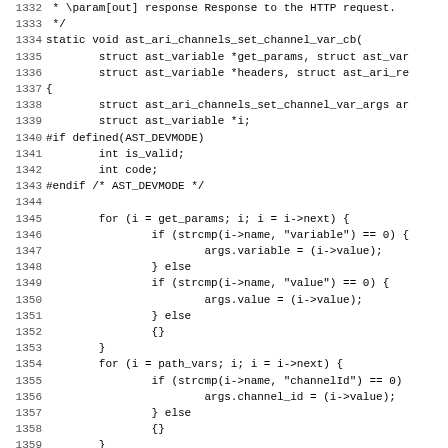Source code listing lines 1332-1363, C function ast_ari_channels_set_channel_var_cb with parameter parsing loops